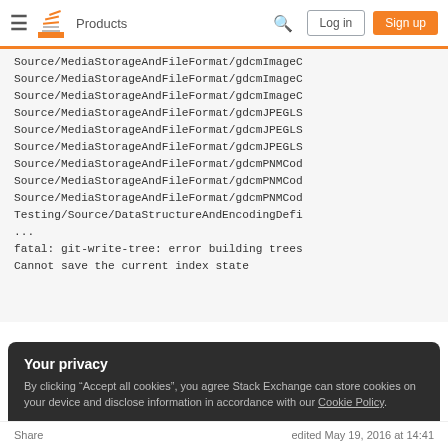Stack Exchange navigation bar with hamburger menu, logo, Products, search, Log in, Sign up
Source/MediaStorageAndFileFormat/gdcmImageC
Source/MediaStorageAndFileFormat/gdcmImageC
Source/MediaStorageAndFileFormat/gdcmImageC
Source/MediaStorageAndFileFormat/gdcmJPEGLS
Source/MediaStorageAndFileFormat/gdcmJPEGLS
Source/MediaStorageAndFileFormat/gdcmJPEGLS
Source/MediaStorageAndFileFormat/gdcmPNMCod
Source/MediaStorageAndFileFormat/gdcmPNMCod
Source/MediaStorageAndFileFormat/gdcmPNMCod
Testing/Source/DataStructureAndEncodingDefi
...
fatal: git-write-tree: error building trees
Cannot save the current index state
Your privacy
By clicking "Accept all cookies", you agree Stack Exchange can store cookies on your device and disclose information in accordance with our Cookie Policy.
Accept all cookies   Customize settings
Share   edited May 19, 2016 at 14:41